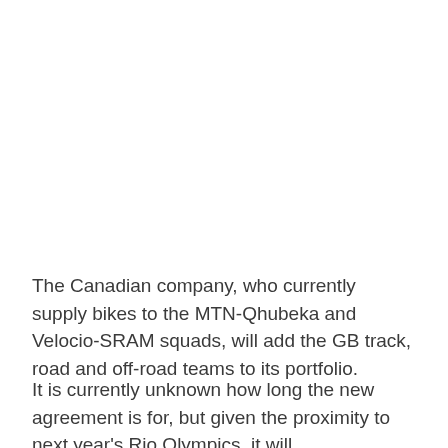The Canadian company, who currently supply bikes to the MTN-Qhubeka and Velocio-SRAM squads, will add the GB track, road and off-road teams to its portfolio.
It is currently unknown how long the new agreement is for, but given the proximity to next year's Rio Olympics, it will